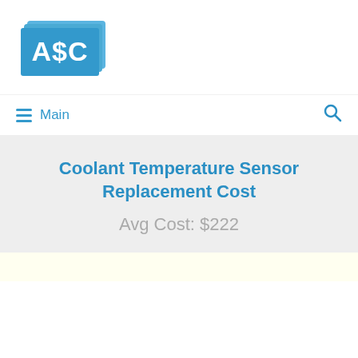[Figure (logo): A$C logo: blue rectangle with white text 'A$C' and stacked card-like layers behind it]
Main
Coolant Temperature Sensor Replacement Cost
Avg Cost: $222